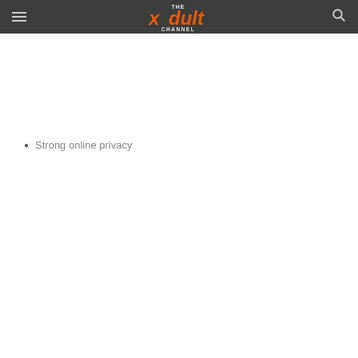THE xdult CHANNEL
Strong online privacy